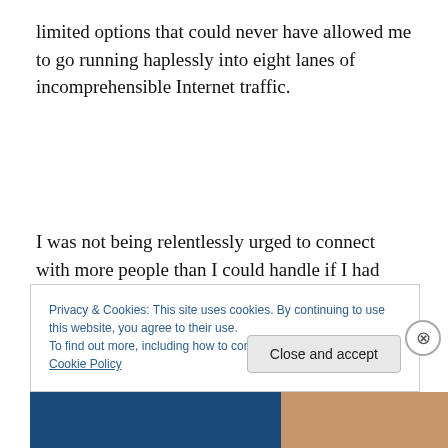limited options that could never have allowed me to go running haplessly into eight lanes of incomprehensible Internet traffic.
I was not being relentlessly urged to connect with more people than I could handle if I had several lifetimes to do it in.. I did simple stuff like visiting musician friends without even phoning first. To talk about all kinds of things in real
Privacy & Cookies: This site uses cookies. By continuing to use this website, you agree to their use.
To find out more, including how to control cookies, see here: Cookie Policy
Close and accept